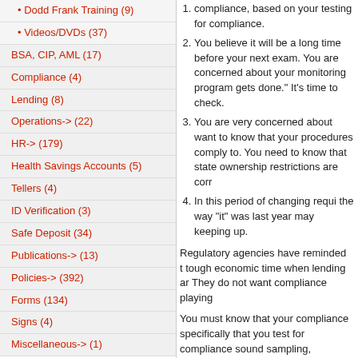Dodd Frank Training (9)
Videos/DVDs (37)
BSA, CIP, AML (17)
Compliance (4)
Lending (8)
Operations-> (22)
HR-> (179)
Health Savings Accounts (5)
Tellers (4)
ID Verification (3)
Safe Deposit (34)
Publications-> (13)
Policies-> (392)
Forms (134)
Signs (4)
Miscellaneous-> (1)
New Products ...
Vendors
Please select ...
Please Select / Bank Policies / Banker's Compliance Consultin
compliance, based on your testing for compliance. 2. You believe it will be a long time before your next exam. You are concerned about your monitoring program gets done. It's time to check. 3. You are very concerned about want to know that your procedures comply to. You need to know that state ownership restrictions are corr 4. In this period of changing requi the way "it" was last year may keeping up.
Regulatory agencies have reminded t tough economic time when lending ar They do not want compliance playing
You must know that your compliance specifically that you test for complianc sound sampling, encompass everythi basis and that tweaks are made to pr
Auditing between exams is like a mo much variation in the first mile. But by be, you'll discover that there is a real the target from your examiner, or a cu interest or disclosures.
Your audit program needs occasional